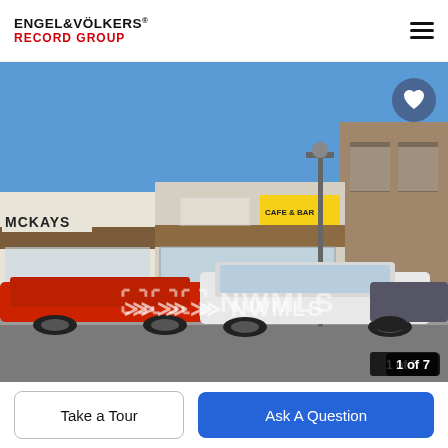[Figure (logo): Engel & Völkers Record Group logo with hamburger menu icon]
[Figure (photo): Street-level photo of a commercial strip mall with shops including McKays, a cafe, and other stores. Cars parked in front. NWMLS watermark on the photo. Image counter shows 1 of 7.]
Take a Tour
Ask A Question